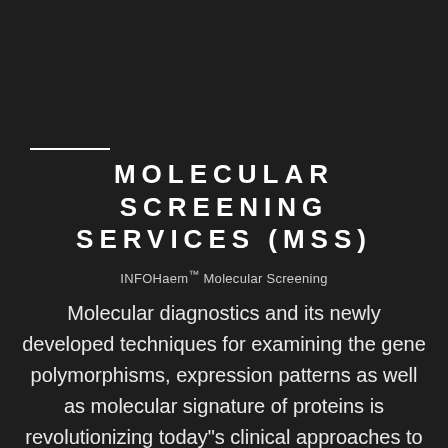MOLECULAR SCREENING SERVICES (MSS)
INFOHaem™ Molecular Screening
Molecular diagnostics and its newly developed techniques for examining the gene polymorphisms, expression patterns as well as molecular signature of proteins is revolutionizing today"s clinical approaches to screening, diagnosis, and classification for